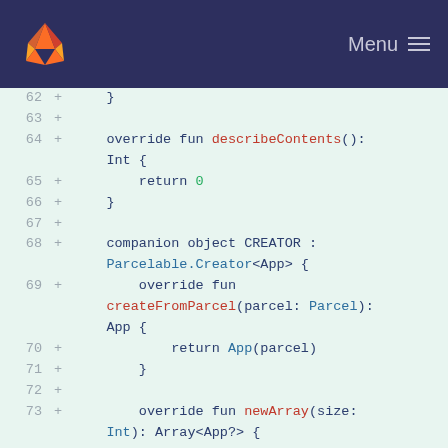GitLab navigation header with logo and Menu
[Figure (screenshot): Code diff view showing Kotlin Parcelable implementation, lines 62-75, with green background additions]
62  +      }
63  +
64  +      override fun describeContents(): Int {
65  +          return 0
66  +      }
67  +
68  +      companion object CREATOR : Parcelable.Creator<App> {
69  +          override fun createFromParcel(parcel: Parcel): App {
70  +              return App(parcel)
71  +          }
72  +
73  +          override fun newArray(size: Int): Array<App?> {
74  +              return arrayOfNulls(size)
75  +          }